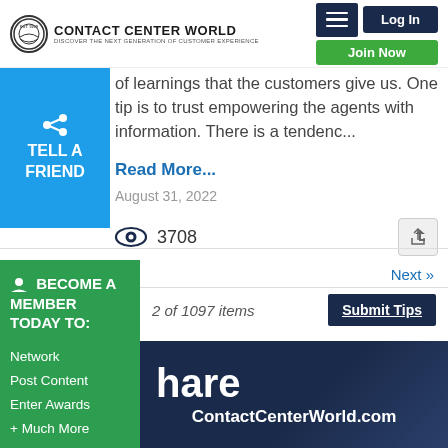Contact Center World — Discover The Next Generation Of Customer Experience | Log In | Join Now
of learnings that the customers give us. One tip is to trust empowering the agents with information. There is a tendenc...
Read More...
August 31, 2022
3708
TELL A FRIEND
Next »
2 of 1097 items
Submit Tips
BECOME A MEMBER TODAY TO:
Network
Post Content
Enter Awards
+ Much More
hare
ContactCenterWorld.com